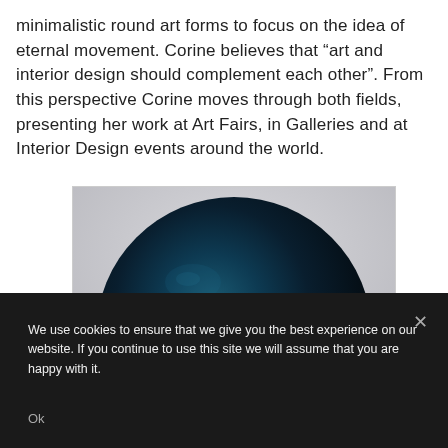minimalistic round art forms to focus on the idea of eternal movement. Corine believes that “art and interior design should complement each other”. From this perspective Corine moves through both fields, presenting her work at Art Fairs, in Galleries and at Interior Design events around the world.
[Figure (photo): A large dark blue-black circular artwork or sphere photographed against a light grey/white background. The sphere is predominantly very dark navy/black at the top and transitions to a deep teal-blue at the bottom, with subtle light reflections visible on its surface.]
We use cookies to ensure that we give you the best experience on our website. If you continue to use this site we will assume that you are happy with it.